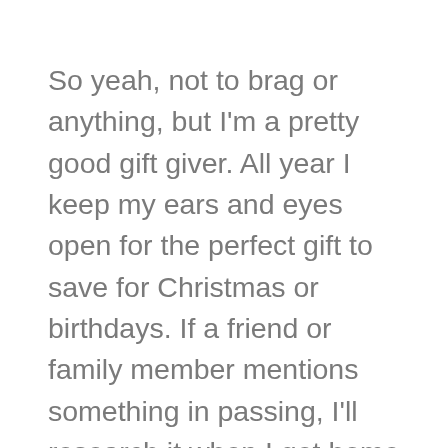So yeah, not to brag or anything, but I'm a pretty good gift giver. All year I keep my ears and eyes open for the perfect gift to save for Christmas or birthdays. If a friend or family member mentions something in passing, I'll research it when I get home and squirrel it away for the special day.
Even neighbors get gifts from me, because I just love to surprise them with something heartfelt and homemade during the holidays (and thank them for putting up with my rowdy dog, Mannie,